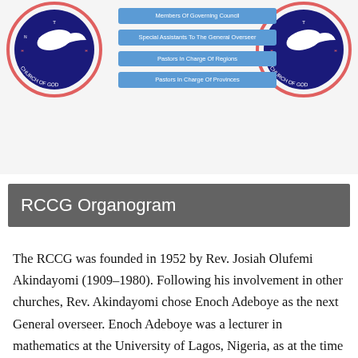[Figure (organizational-chart): RCCG organogram diagram showing logos on left and right, with organizational boxes in the center listing Members Of Governing Council, Special Assistants To The General Overseer, Pastors In Charge Of Regions, Pastors In Charge Of Provinces]
RCCG Organogram
The RCCG was founded in 1952 by Rev. Josiah Olufemi Akindayomi (1909–1980). Following his involvement in other churches, Rev. Akindayomi chose Enoch Adeboye as the next General overseer. Enoch Adeboye was a lecturer in mathematics at the University of Lagos, Nigeria, as at the time he joined the church in 1973. Adeboye initially became one of the interpreters translating Akindayomi's sermons from Yoruba to English. He was ordained a pastor of the church in 1975, and his appointment as the leader (General overseer) of the church was formalized by the posthumous reading of Akindayomi's last...